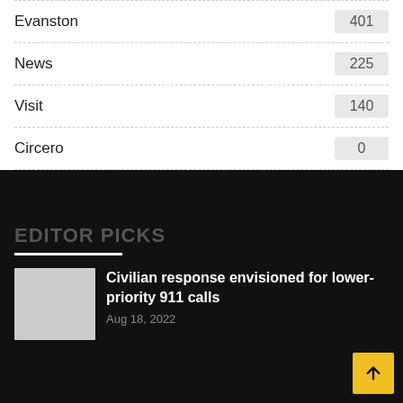Evanston 401
News 225
Visit 140
Circero 0
Editor Picks
Civilian response envisioned for lower-priority 911 calls
Aug 18, 2022